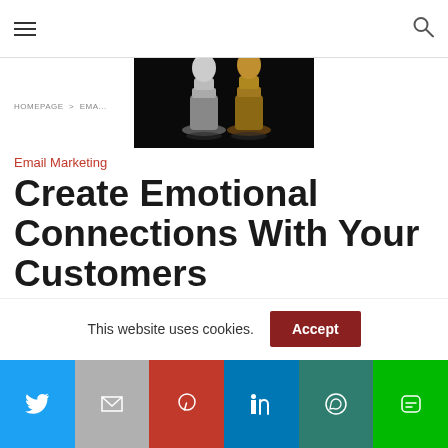Navigation header with hamburger menu and search icon
[Figure (photo): Close-up photo of two metallic chess pieces (silver and gold/bronze knight pieces) on a black background, facing each other]
HOMEPAGE > EMA...
Email Marketing
Create Emotional Connections With Your Customers
Email Marketing: How to Create Emotional Connections With Your Customers
This website uses cookies.
Social sharing bar: Twitter, Gmail, Pinterest, LinkedIn, WhatsApp, Line